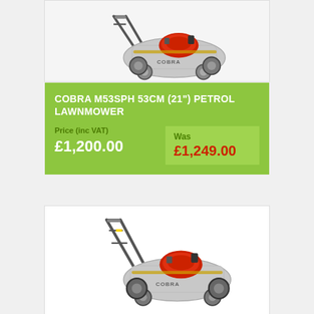[Figure (photo): Cobra petrol lawnmower product photo, top card, silver body with red engine and Cobra branding, viewed from front-left angle]
COBRA M53SPH 53CM (21") PETROL LAWNMOWER
Price (inc VAT)
£1,200.00
Was £1,249.00
[Figure (photo): Cobra petrol lawnmower product photo, bottom card, silver body with red engine and Cobra branding, viewed from front-left angle]